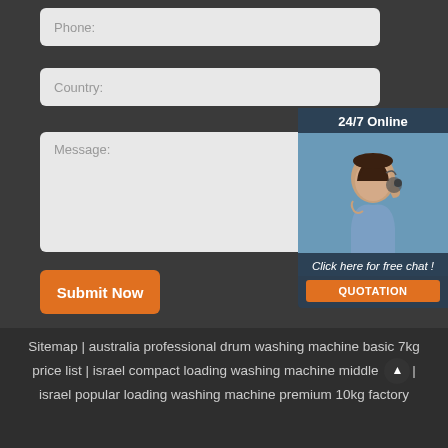[Figure (screenshot): Web contact form with Phone, Country, and Message fields on a dark grey background, with a 24/7 online chat widget on the right side showing a customer service representative photo, 'Click here for free chat!' text, and a QUOTATION button. Below is a Submit Now button.]
Phone:
Country:
Message:
Submit Now
24/7 Online
Click here for free chat !
QUOTATION
Sitemap | australia professional drum washing machine basic 7kg price list | israel compact loading washing machine middle | israel popular loading washing machine premium 10kg factory